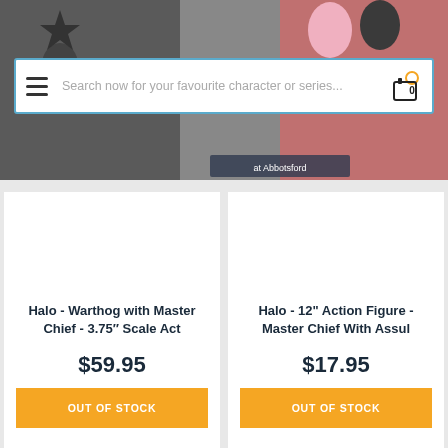[Figure (screenshot): Website header banner showing anime figurines with text 'at Abbotsford']
Search now for your favourite character or series...
Halo - Warthog with Master Chief - 3.75" Scale Act
$59.95
OUT OF STOCK
Halo - 12" Action Figure - Master Chief With Assul
$17.95
OUT OF STOCK